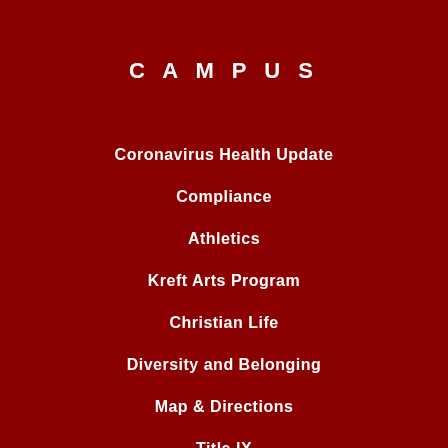CAMPUS
Coronavirus Health Update
Compliance
Athletics
Kreft Arts Program
Christian Life
Diversity and Belonging
Map & Directions
Title IX